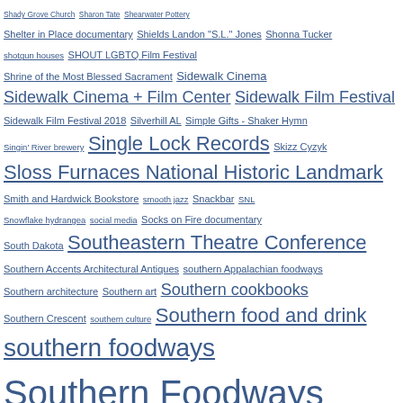Tag cloud listing: Shady Grove Church, Sharon Tate, Shearwater Pottery, Shelter in Place documentary, Shields Landon S.L. Jones, Shonna Tucker, shotgun houses, SHOUT LGBTQ Film Festival, Shrine of the Most Blessed Sacrament, Sidewalk Cinema, Sidewalk Cinema + Film Center, Sidewalk Film Festival, Sidewalk Film Festival 2018, Silverhill AL, Simple Gifts - Shaker Hymn, Singin' River brewery, Single Lock Records, Skizz Cyzyk, Sloss Furnaces National Historic Landmark, Smith and Hardwick Bookstore, smooth jazz, Snackbar, SNL, Snowflake hydrangea, social media, Socks on Fire documentary, South Dakota, Southeastern Theatre Conference, Southern Accents Architectural Antiques, southern Appalachian foodways, Southern architecture, Southern art, Southern cookbooks, Southern Crescent, southern culture, Southern food and drink, southern foodways, Southern Foodways Alliance, Southern gardening, southern hunting, Southern literature, Southern Makers, Southern National restaurant, Southern politics, Southern Poverty Law Center, southern recipes, Southern Research Institute, Southern Roots restaurant, Southern Strategy, Southern summer, Southern Thanksgiving, South Highland Presbyterian Church, South Pittsburg, So We Read On, space music, Spahn Movie Ranch, speakeasy, Spike Lee, springtime in the South, Spying on the South, Spy of the First Person by Sam Shepard, St. Francis at the Point Church, St. George, St. Louis Cathedral New Orleans, St. Paul and the Broken Bones, St. Vincent, Stand in the Schoolhouse Door, Stars Fell on Alabama by Carl Carmer, Stephanie Stuckey, Stephen Hill, Stephen Kijak, Steve Miller Pottery, Steve Palmer, Steve Shepard, Still Hungry in America, Stokely Carmichael, Strawberry Fields, Stuckey's, suburban gardening, succotash, Summer of 1968, Summer Solstice, Sumter County Alabama